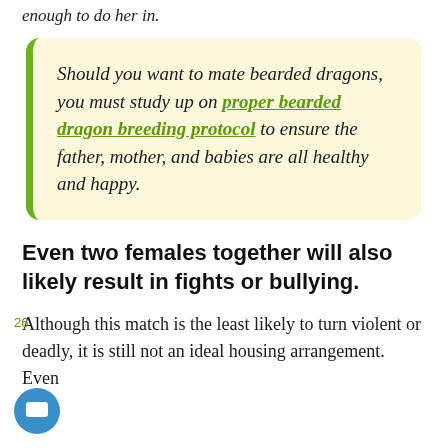enough to do her in.
Should you want to mate bearded dragons, you must study up on proper bearded dragon breeding protocol to ensure the father, mother, and babies are all healthy and happy.
Even two females together will also likely result in fights or bullying.
Although this match is the least likely to turn violent or deadly, it is still not an ideal housing arrangement. Even